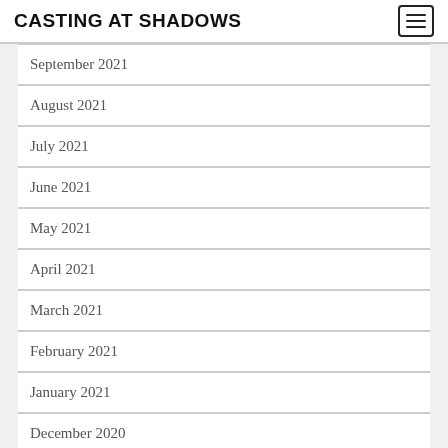CASTING AT SHADOWS
September 2021
August 2021
July 2021
June 2021
May 2021
April 2021
March 2021
February 2021
January 2021
December 2020